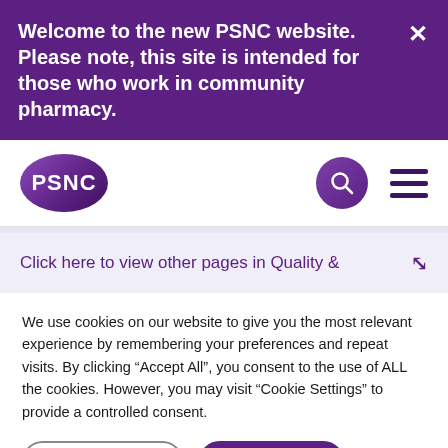Welcome to the new PSNC website. Please note, this site is intended for those who work in community pharmacy.
[Figure (logo): PSNC logo - white text on purple oval background]
Click here to view other pages in Quality &
We use cookies on our website to give you the most relevant experience by remembering your preferences and repeat visits. By clicking "Accept All", you consent to the use of ALL the cookies. However, you may visit "Cookie Settings" to provide a controlled consent.
Cookie Settings | Accept All